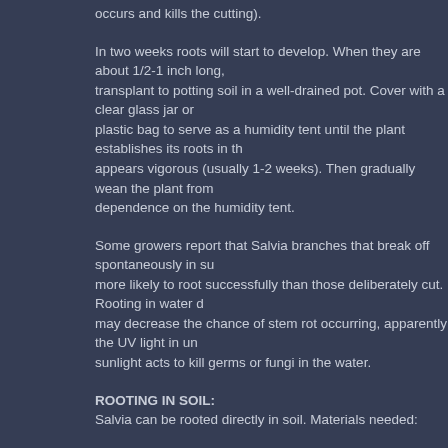occurs and kills the cutting).
In two weeks roots will start to develop. When they are about 1/2-1 inch long, transplant to potting soil in a well-drained pot. Cover with a clear glass jar or plastic bag to serve as a humidity tent until the plant establishes its roots in the soil and appears vigorous (usually 1-2 weeks). Then gradually wean the plant from dependence on the humidity tent.
Some growers report that Salvia branches that break off spontaneously in sun are more likely to root successfully than those deliberately cut. Rooting in water done in sun may decrease the chance of stem rot occurring, apparently the UV light in unfiltered sunlight acts to kill germs or fungi in the water.
ROOTING IN SOIL:
Salvia can be rooted directly in soil. Materials needed:
* Potting soil.
* Two disposable plastic cups.
* Some Rootone® powder (this is a rooting hormone mixture that also contains fungicide) it is available at most nurseries in the United States.
* A 1-gallon thin, transparent, polyethylene food storage bag.
* A rubber band.
* Water.
METHOD:
Procedure available at time of the no further directions. Fill the no 3/8 t